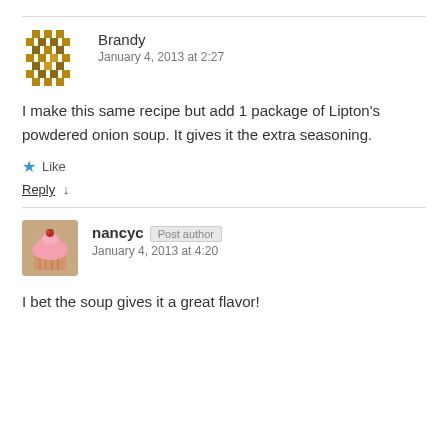[Figure (other): Horizontal divider line at top]
[Figure (other): Brandy commenter avatar - geometric diamond pattern in brown/gold]
Brandy
January 4, 2013 at 2:27
I make this same recipe but add 1 package of Lipton's powdered onion soup. It gives it the extra seasoning.
★ Like
Reply ↓
[Figure (other): Horizontal divider line between comments]
[Figure (photo): nancyc avatar photo showing a cupcake with pink frosting and a cherry on top]
nancyc [Post author]
January 4, 2013 at 4:20
I bet the soup gives it a great flavor!